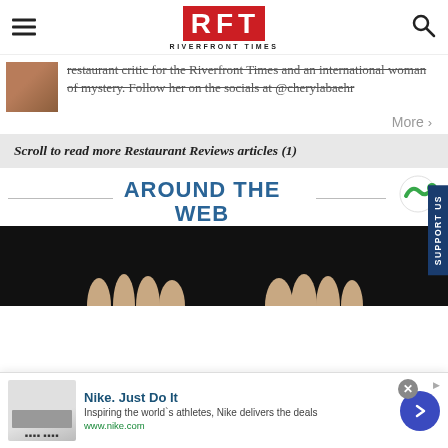RFT RIVERFRONT TIMES
restaurant critic for the Riverfront Times and an international woman of mystery. Follow her on the socials at @cherylabaehr
More >
Scroll to read more Restaurant Reviews articles (1)
AROUND THE WEB
[Figure (photo): Dark background image showing fingers/hands]
[Figure (other): Nike advertisement banner: Nike. Just Do It. Inspiring the world's athletes, Nike delivers the deals. www.nike.com]